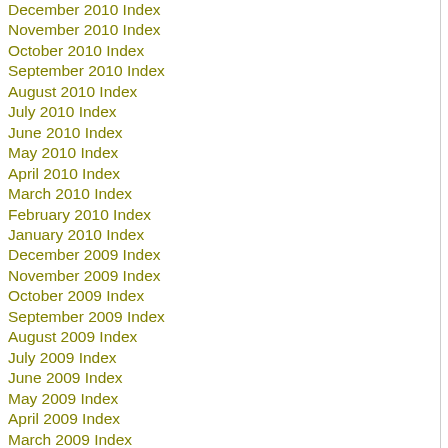December 2010 Index
November 2010 Index
October 2010 Index
September 2010 Index
August 2010 Index
July 2010 Index
June 2010 Index
May 2010 Index
April 2010 Index
March 2010 Index
February 2010 Index
January 2010 Index
December 2009 Index
November 2009 Index
October 2009 Index
September 2009 Index
August 2009 Index
July 2009 Index
June 2009 Index
May 2009 Index
April 2009 Index
March 2009 Index
February 2009 Index
January 2009 Index
December 2008 Index
its wis in a new ligh Wh you don her ple con tak a new loo at this ma via the link I pro in